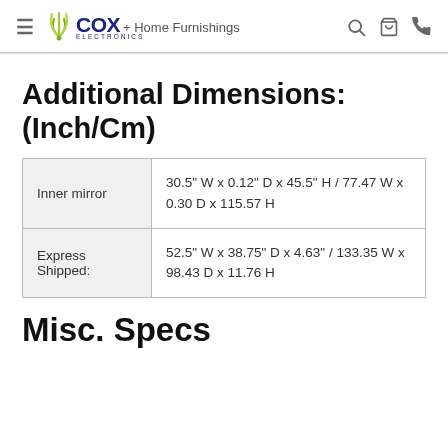COX Electronics + Home Furnishings
Additional Dimensions: (Inch/Cm)
|  |  |
| --- | --- |
| Inner mirror | 30.5" W x 0.12" D x 45.5" H / 77.47 W x 0.30 D x 115.57 H |
| Express Shipped: | 52.5" W x 38.75" D x 4.63" / 133.35 W x 98.43 D x 11.76 H |
Misc. Specs